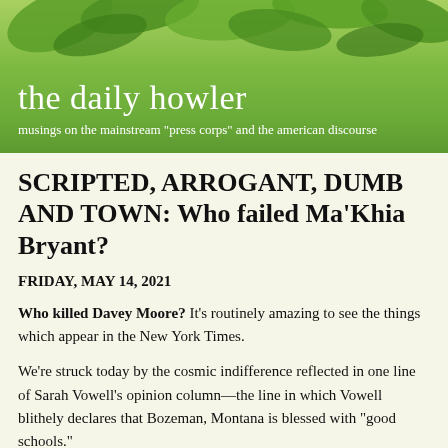[Figure (photo): Green leaves background image at top of page]
the daily howler
musings on the mainstream "press corps" and the american discourse
SCRIPTED, ARROGANT, DUMB AND TOWN: Who failed Ma'Khia Bryant?
FRIDAY, MAY 14, 2021
Who killed Davey Moore? It's routinely amazing to see the things which appear in the New York Times.
We're struck today by the cosmic indifference reflected in one line of Sarah Vowell's opinion column—the line in which Vowell blithely declares that Bozeman, Montana is blessed with "good schools."
We'll discuss that blithe claim below. We were also struck by this